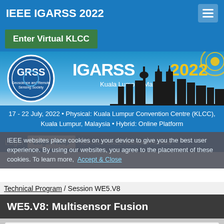IEEE IGARSS 2022
Enter Virtual KLCC
[Figure (illustration): IGARSS 2022 Kuala Lumpur Malaysia conference banner with GRSS logo, IGARSS 2022 text, and Kuala Lumpur city skyline silhouette with Petronas Towers]
17 - 22 July, 2022 • Physical: Kuala Lumpur Convention Centre (KLCC), Kuala Lumpur, Malaysia • Hybrid: Online Platform
Login   Login Help   IGARSS 2022 Attendee Access
IEEE websites place cookies on your device to give you the best user experience. By using our websites, you agree to the placement of these cookies. To learn more,   Accept & Close
Technical Program / Session WE5.V8
WE5.V8: Multisensor Fusion
| Wed, 20 Jul, 19:50 - 21:20 Malaysia Time (UTC +8) | Location: Virtual Room 8 |
|  | Session Type: Oral |
| Wed, 20 Jul, 13:50 | Virtual |